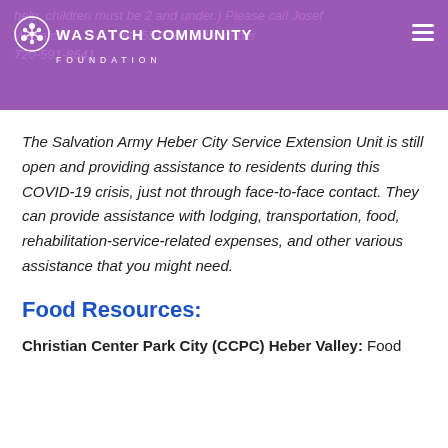Wasatch Community Foundation
The Salvation Army Heber City Service Extension Unit is still open and providing assistance to residents during this COVID-19 crisis, just not through face-to-face contact. They can provide assistance with lodging, transportation, food, rehabilitation-service-related expenses, and other various assistance that you might need.
Food Resources:
Christian Center Park City (CCPC) Heber Valley: Food